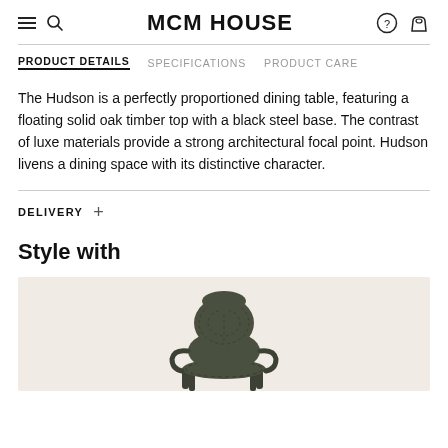MCM HOUSE
PRODUCT DETAILS  SPECIFICATIONS  PRODUCT CARE
The Hudson is a perfectly proportioned dining table, featuring a floating solid oak timber top with a black steel base. The contrast of luxe materials provide a strong architectural focal point. Hudson livens a dining space with its distinctive character.
DELIVERY +
Style with
[Figure (photo): A dark olive/charcoal woven chair with curved back and armrests on a light beige background.]